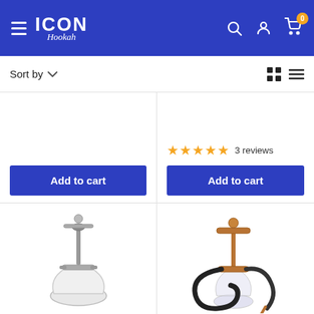[Figure (screenshot): Icon Hookah website header with blue background, hamburger menu, logo, search, account, and cart icons]
Sort by
[Figure (illustration): Modern silver/white hookah product image]
Add to cart
★★★★★ 3 reviews
Add to cart
[Figure (photo): Copper/rose gold hookah with black hose product image]